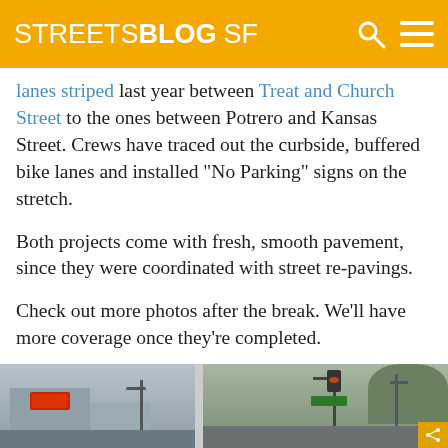STREETSBLOG SF
lanes striped last year between Treat and Church Street to the ones between Potrero and Kansas Street. Crews have traced out the curbside, buffered bike lanes and installed “No Parking” signs on the stretch.
Both projects come with fresh, smooth pavement, since they were coordinated with street re-pavings.
Check out more photos after the break. We’ll have more coverage once they’re completed.
See you back here Thursday. Enjoy the Fourth, everyone.
[Figure (photo): Two street-level photos showing newly paved road with bike lane markings]